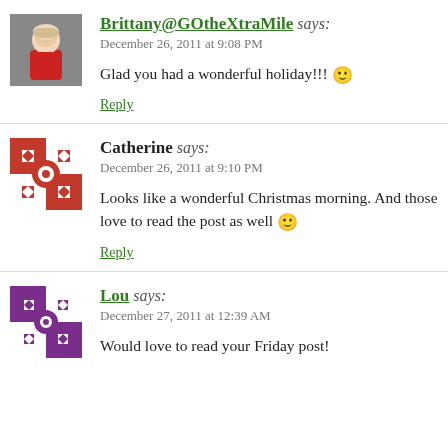Brittany@GOtheXtraMile says: December 26, 2011 at 9:08 PM
Glad you had a wonderful holiday!!! 🙂
Reply
Catherine says: December 26, 2011 at 9:10 PM
Looks like a wonderful Christmas morning. And those love to read the post as well 🙂
Reply
Lou says: December 27, 2011 at 12:39 AM
Would love to read your Friday post!